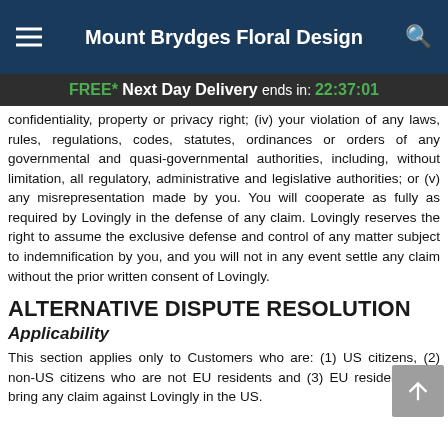Mount Brydges Floral Design
FREE* Next Day Delivery ends in: 22:37:01
confidentiality, property or privacy right; (iv) your violation of any laws, rules, regulations, codes, statutes, ordinances or orders of any governmental and quasi-governmental authorities, including, without limitation, all regulatory, administrative and legislative authorities; or (v) any misrepresentation made by you. You will cooperate as fully as required by Lovingly in the defense of any claim. Lovingly reserves the right to assume the exclusive defense and control of any matter subject to indemnification by you, and you will not in any event settle any claim without the prior written consent of Lovingly.
ALTERNATIVE DISPUTE RESOLUTION
Applicability
This section applies only to Customers who are: (1) US citizens, (2) non-US citizens who are not EU residents and (3) EU residents who bring any claim against Lovingly in the US.
Informal Resolution